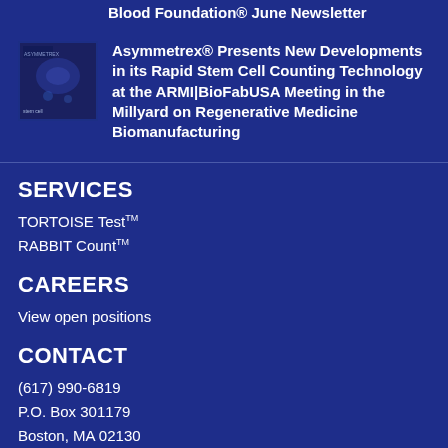Blood Foundation® June Newsletter
[Figure (photo): Small thumbnail image showing a scientific/microscopy presentation related to stem cell counting technology]
Asymmetrex® Presents New Developments in its Rapid Stem Cell Counting Technology at the ARMI|BioFabUSA Meeting in the Millyard on Regenerative Medicine Biomanufacturing
SERVICES
TORTOISE Test™
RABBIT Count™
CAREERS
View open positions
CONTACT
(617) 990-6819
P.O. Box 301179
Boston, MA 02130